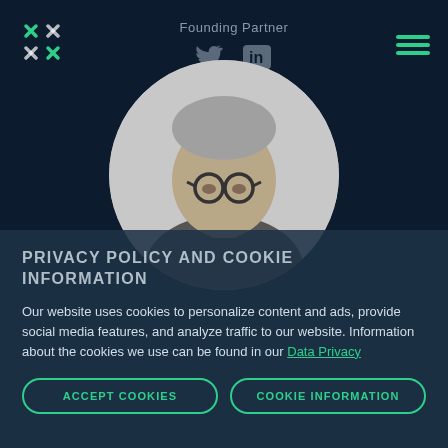[Figure (logo): Cross/asterisk logo mark in teal/green on dark navy background]
Founding Partner
[Figure (logo): Twitter bird icon and LinkedIn 'in' icon in dark navy]
[Figure (illustration): Hamburger menu icon with three green horizontal lines]
[Figure (photo): Circular portrait photo of a man with grey hair and round glasses, black and white tones]
PRIVACY POLICY AND COOKIE INFORMATION
Our website uses cookies to personalize content and ads, provide social media features, and analyze traffic to our website. Information about the cookies we use can be found in our Data Privacy
ACCEPT COOKIES
COOKIE INFORMATION